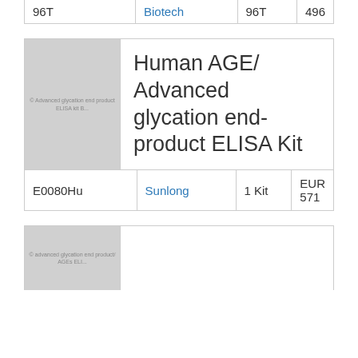| 96T | Biotech | 96T | 496 |
[Figure (photo): Product image placeholder for ELISA kit, gray box with watermark text]
Human AGE/ Advanced glycation end-product ELISA Kit
| E0080Hu | Sunlong | 1 Kit | EUR 571 |
[Figure (photo): Product image placeholder for second product, gray box with watermark text about advanced glycation end product]